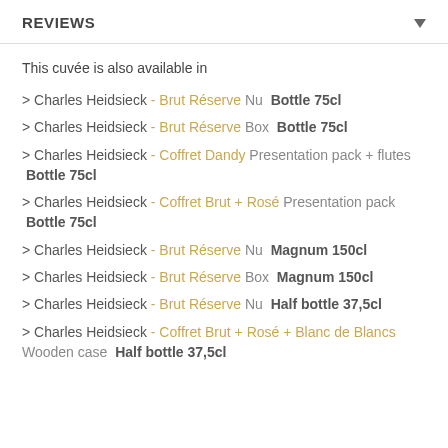REVIEWS
This cuvée is also available in
> Charles Heidsieck - Brut Réserve Nu Bottle 75cl
> Charles Heidsieck - Brut Réserve Box Bottle 75cl
> Charles Heidsieck - Coffret Dandy Presentation pack + flutes Bottle 75cl
> Charles Heidsieck - Coffret Brut + Rosé Presentation pack Bottle 75cl
> Charles Heidsieck - Brut Réserve Nu Magnum 150cl
> Charles Heidsieck - Brut Réserve Box Magnum 150cl
> Charles Heidsieck - Brut Réserve Nu Half bottle 37,5cl
> Charles Heidsieck - Coffret Brut + Rosé + Blanc de Blancs Wooden case Half bottle 37,5cl